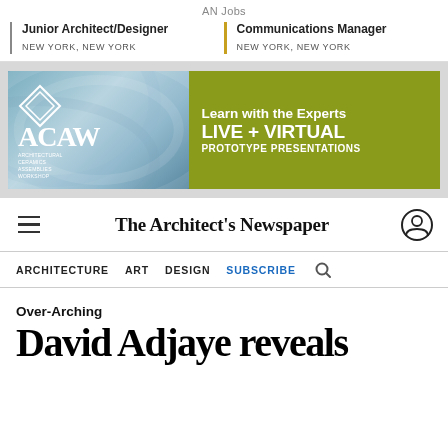AN Jobs
Junior Architect/Designer — NEW YORK, NEW YORK
Communications Manager — NEW YORK, NEW YORK
[Figure (illustration): ACAW (Architectural Ceramics Assemblies Workshop) advertisement banner with geometric logo on blue-gray background and olive-green panel reading: Learn with the Experts / LIVE + VIRTUAL / PROTOTYPE PRESENTATIONS]
The Architect's Newspaper
ARCHITECTURE   ART   DESIGN   SUBSCRIBE
Over-Arching
David Adjaye reveals